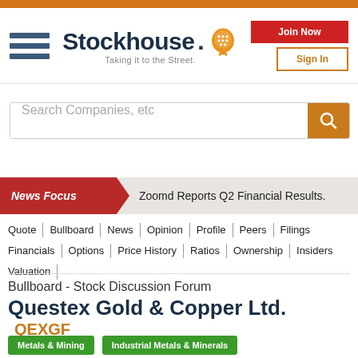[Figure (logo): Stockhouse logo with hamburger menu icon, orange mascot head graphic, tagline 'Taking it to the Street.']
[Figure (other): Join Now (red button) and Sign In (orange border button) authentication buttons]
Search Companies, etc
News Focus — Zoomd Reports Q2 Financial Results.
Quote | Bullboard | News | Opinion | Profile | Peers | Filings
Financials | Options | Price History | Ratios | Ownership | Insiders
Valuation
Bullboard - Stock Discussion Forum
Questex Gold & Copper Ltd. QEXGF
Metals & Mining   Industrial Metals & Minerals